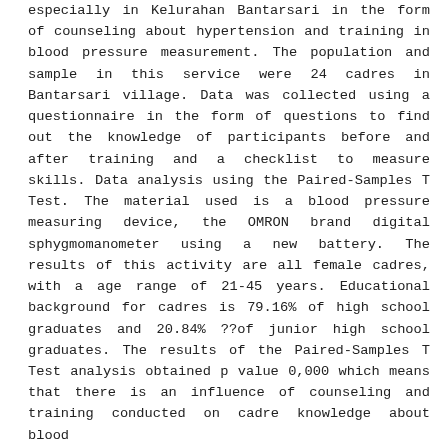especially in Kelurahan Bantarsari in the form of counseling about hypertension and training in blood pressure measurement. The population and sample in this service were 24 cadres in Bantarsari village. Data was collected using a questionnaire in the form of questions to find out the knowledge of participants before and after training and a checklist to measure skills. Data analysis using the Paired-Samples T Test. The material used is a blood pressure measuring device, the OMRON brand digital sphygmomanometer using a new battery. The results of this activity are all female cadres, with a age range of 21-45 years. Educational background for cadres is 79.16% of high school graduates and 20.84% ??of junior high school graduates. The results of the Paired-Samples T Test analysis obtained p value 0,000 which means that there is an influence of counseling and training conducted on cadre knowledge about blood